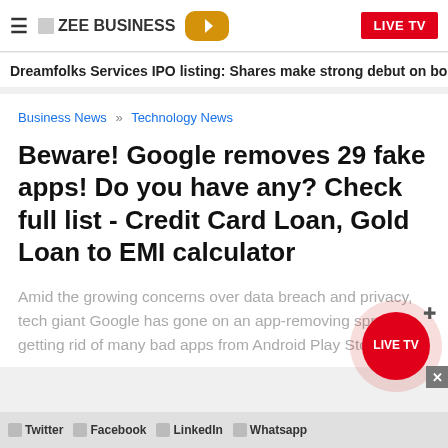ZEE BUSINESS | LIVE TV
Dreamfolks Services IPO listing: Shares make strong debut on bou
Business News » Technology News
Beware! Google removes 29 fake apps! Do you have any? Check full list - Credit Card Loan, Gold Loan to EMI calculator
Amid the growing concerns over data breach and privacy, tech giant Google has gone on an app-removing spree, getting rid of many bad apps from Android Play Store.
Twitter  Facebook  LinkedIn  Whatsapp